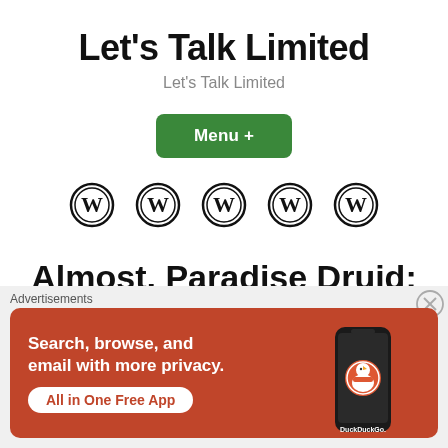Let's Talk Limited
Let's Talk Limited
Menu +
[Figure (logo): Five WordPress logo icons in a row]
Almost, Paradise Druid: A Drafter's Historic Mythic
Advertisements
[Figure (screenshot): DuckDuckGo advertisement banner: 'Search, browse, and email with more privacy. All in One Free App' with phone image and DuckDuckGo logo on orange background]